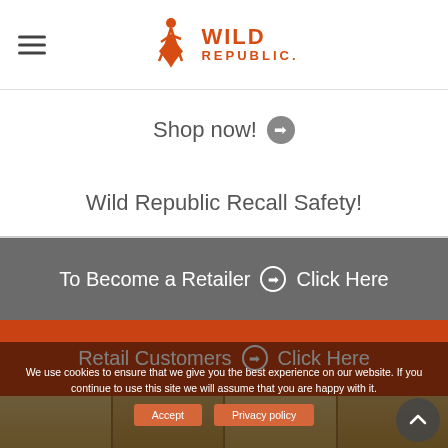Wild Republic logo header with hamburger menu
Shop now! →
Wild Republic Recall Safety!
To Become a Retailer → Click Here
Retail Customers → Click Here
[Figure (photo): Wooden letter/toy storage display boxes in tan/beige wood color]
We use cookies to ensure that we give you the best experience on our website. If you continue to use this site we will assume that you are happy with it.
Accept   Privacy policy